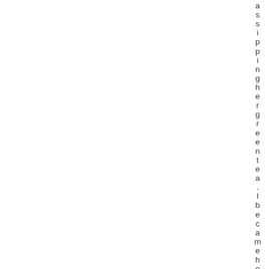assippingheragreemtea. I becameho